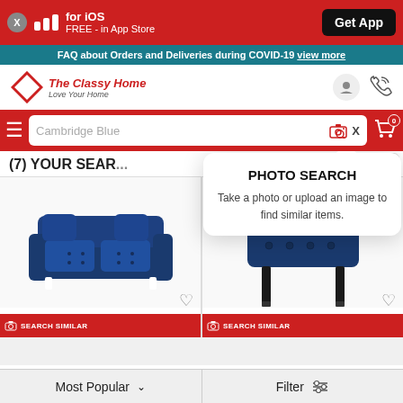for iOS FREE - in App Store | Get App
FAQ about Orders and Deliveries during COVID-19 view more
[Figure (logo): The Classy Home - Love Your Home logo with diamond shape]
Cambridge Blue
[Figure (screenshot): PHOTO SEARCH popup: Take a photo or upload an image to find similar items.]
(7) YOUR SEAR...
[Figure (photo): Navy blue tufted sofa with cushions]
[Figure (photo): Navy blue tufted headboard on black legs]
Most Popular  ∨  |  Filter